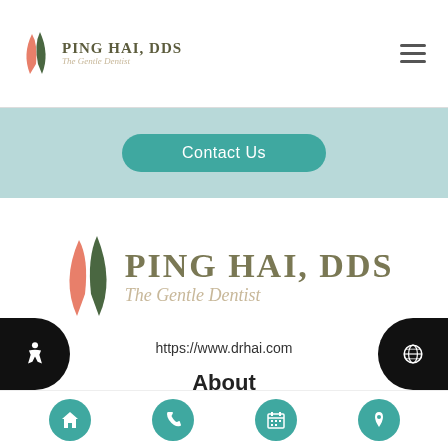Ping Hai, DDS – The Gentle Dentist
Contact Us
[Figure (logo): Ping Hai DDS – The Gentle Dentist logo with intertwined leaf/tooth graphic in coral and dark green]
https://www.drhai.com
About
We are committed to providing quality healthcare to families located in the Marietta area and treat patients of a